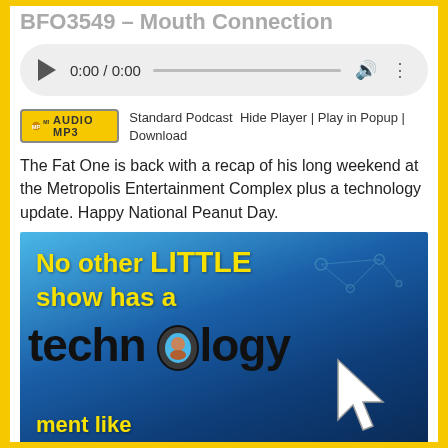BFO3549 – Mouth Connection
[Figure (screenshot): Audio player UI showing 0:00 / 0:00 with play button, progress bar, volume and menu icons on a grey rounded rectangle background]
Standard Podcast  Hide Player | Play in Popup | Download
The Fat One is back with a recap of his long weekend at the Metropolis Entertainment Complex plus a technology update. Happy National Peanut Day.
[Figure (illustration): Promotional podcast image with blue background showing text 'No other LITTLE show has a technology' with a person's face in the letter 'o' and a cursor arrow, plus partial text 'ment like' at bottom]